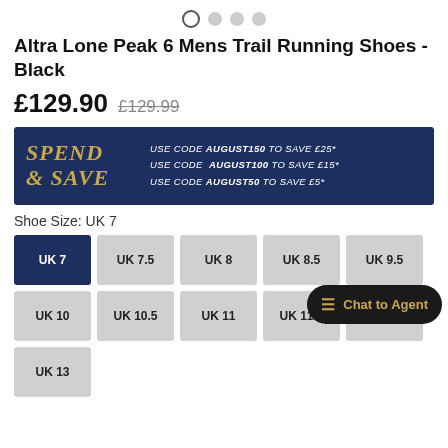[Figure (other): Carousel navigation dots — first dot is active (outlined circle), three others are filled grey dots]
Altra Lone Peak 6 Mens Trail Running Shoes - Black
£129.90 £129.99
[Figure (infographic): Spend & Save promotional banner on dark navy background. Left side: 'SPEND & SAVE' in large gold italic serif text. Right side: 'USE CODE AUGUST150 TO SAVE £25* / USE CODE AUGUST100 TO SAVE £15* / USE CODE AUGUST50 TO SAVE £5*' in white italic text.]
Shoe Size: UK 7
UK 7 (selected), UK 7.5, UK 8, UK 8.5, UK 9.5, UK 10, UK 10.5, UK 11, UK 11.5, UK 12, UK 13